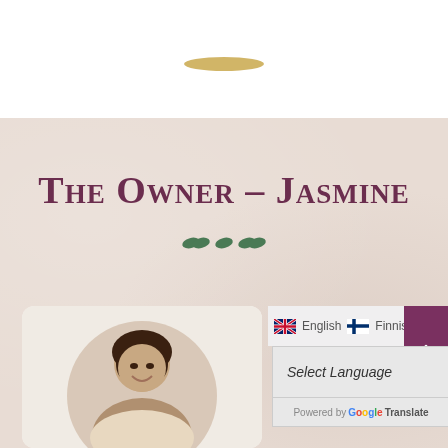[Figure (illustration): Golden halo shape above the owner's section, decorative element]
The Owner - Jasmine
[Figure (illustration): Green leaf/vine decorative divider below the title]
[Figure (photo): Circular photo of a young woman with dark hair smiling, set in a white card]
English  Finnish
Select Language
Powered by Google Translate